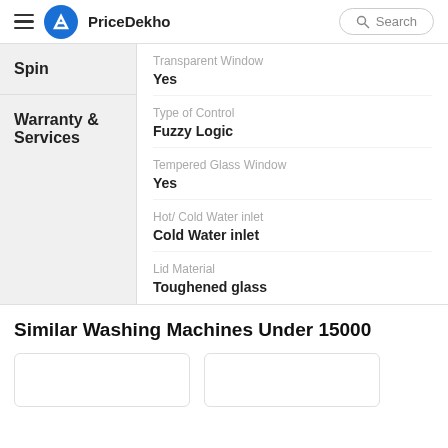PriceDekho
Spin
Warranty & Services
Transparent Window
Yes
Type of Control
Fuzzy Logic
Tempered Glass Window
Yes
Hot/ Cold Water inlet
Cold Water inlet
Lid Material
Toughened glass
Similar Washing Machines Under 15000